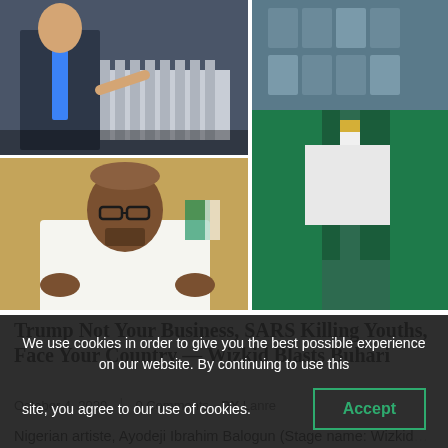[Figure (photo): Four-panel photo collage: top-left shows a man in suit pointing (Trump at White House), top-right shows a man wearing chain necklace and green jacket (Wizkid), bottom-left shows a bearded man in white garment with glasses gesturing (Buhari), bottom-right shows closer view of man in green jacket.]
Trump Not Your Business, SARS Killing Youths, Face Your Country — Wizkid Blasts Buhari
October 4, 2020   |   0 Comments   BY Lanre
Nigerian artiste, Ayodeji Ibrahim Balogun (Stage name: Wizkid), has blasted the Nigerian President for...
We use cookies in order to give you the best possible experience on our website. By continuing to use this site, you agree to our use of cookies.